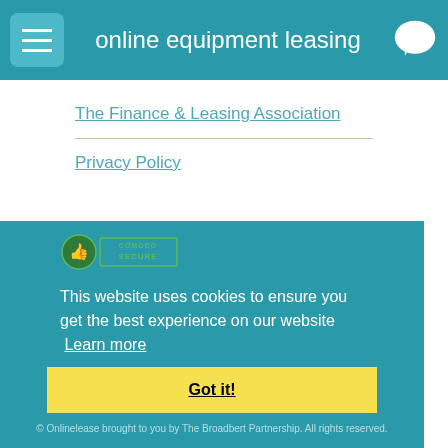online equipment leasing
The Finance & Leasing Association
Privacy Policy
Lease Finance Calculators
Contact
[Figure (logo): Comodo Secure badge with green circle thumbs-up icon and COMODO SECURE text]
This website uses cookies to ensure you get the best experience on our website  Learn more
Got it!
© Onlinelease brought to you by The Broadbert Partnership. All rights reserved.